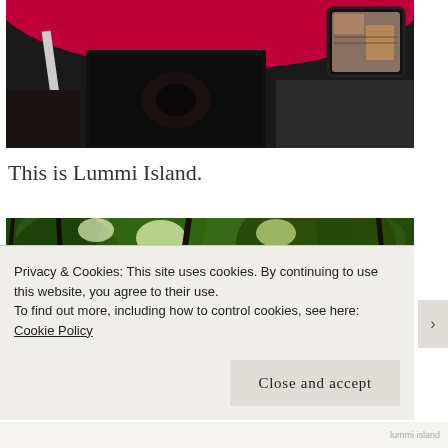[Figure (photo): Upward-looking photo of a red and dark vessel or vehicle underside, with a white pole and a rectangular mirror showing reflections, against a dark ceiling.]
This is Lummi Island.
[Figure (photo): Photo of lush green forest canopy viewed from below, with bright sky showing through the leaves.]
Privacy & Cookies: This site uses cookies. By continuing to use this website, you agree to their use.
To find out more, including how to control cookies, see here: Cookie Policy
Close and accept